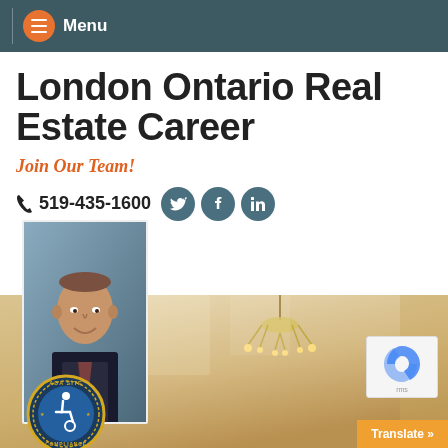Menu
London Ontario Real Estate Career
Join Our Team!
519-435-1600
[Figure (photo): Portrait photo of a middle-aged man in a dark suit with a striped tie, smiling, against a blue-grey background]
[Figure (logo): ADA Site Compliance accessibility badge — circular seal with wheelchair icon]
[Figure (photo): Interior room background showing chandelier and draped curtains in warm beige tones]
[Figure (logo): reCAPTCHA box]
Translate »